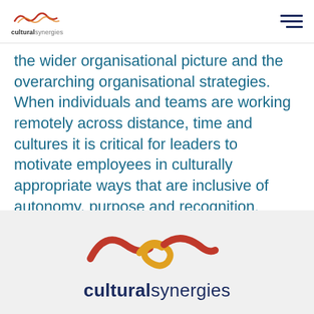[Figure (logo): Cultural Synergies logo - small header version with wave motif and text]
the wider organisational picture and the overarching organisational strategies. When individuals and teams are working remotely across distance, time and cultures it is critical for leaders to motivate employees in culturally appropriate ways that are inclusive of autonomy, purpose and recognition.
Prev Article
Index
Next Article
[Figure (logo): Cultural Synergies footer logo - large wave motif in red, orange and gold with company name below]